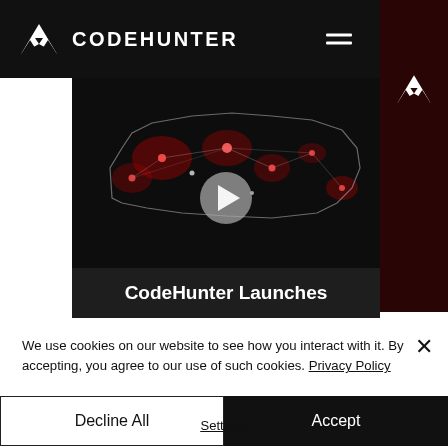CODEHUNTER
[Figure (screenshot): Dark map of the United States with red and white glowing network nodes and connections, with a video play button overlay. Below the map is a dark bar with the text 'CodeHunter Launches'.]
We use cookies on our website to see how you interact with it. By accepting, you agree to our use of such cookies. Privacy Policy
Decline All
Accept
Settings